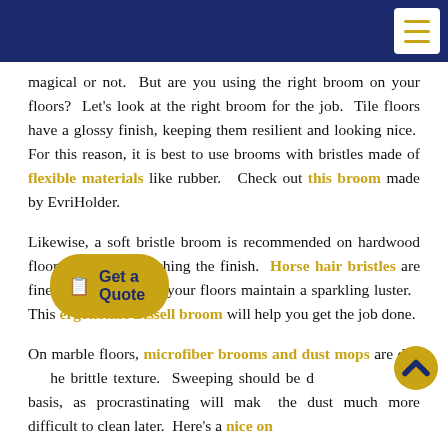[Navigation header bar with menu button]
magical or not.  But are you using the right broom on your floors?  Let's look at the right broom for the job.  Tile floors have a glossy finish, keeping them resilient and looking nice.  For this reason, it is best to use brooms with bristles made of flexible materials like rubber.  Check out this broom made by EvriHolder.
Likewise, a soft bristle broom is recommended on hardwood floors to avoid scratching the finish.  Horse hair bristles are fine and soft, helping your floors maintain a sparkling luster.  This ergonomic Bissell broom will help you get the job done.
On marble floors, microfiber brooms and dust mops are due to the brittle texture.  Sweeping should be done on a regular basis, as procrastinating will make the dust much more difficult to clean later.  Here's a nice one